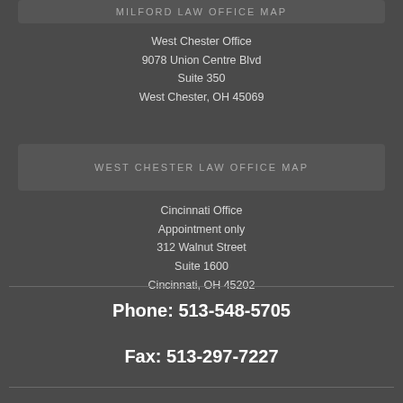[Figure (other): Milford Law Office Map button (partially cropped at top of page)]
West Chester Office
9078 Union Centre Blvd
Suite 350
West Chester, OH 45069
[Figure (other): West Chester Law Office Map button]
Cincinnati Office
Appointment only
312 Walnut Street
Suite 1600
Cincinnati, OH 45202
[Figure (other): Cincinnati Law Office Map button]
Phone: 513-548-5705
Fax: 513-297-7227